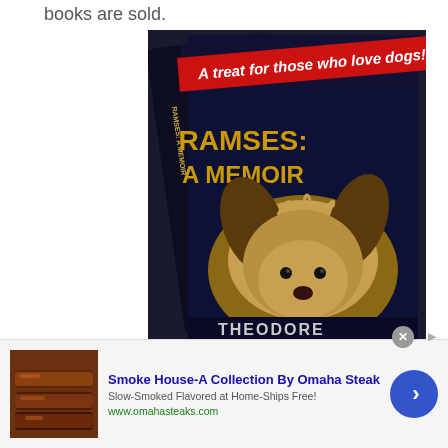books are sold.
[Figure (photo): Photo of two copies of the book 'Ramses: A Memoir' by Theodore Dalrymple. The book cover shows a Yorkshire Terrier dog and text 'A treat for those who love dogs!' in red, with the title 'RAMSES: A MEMOIR' in gold/yellow letters and author name 'THEODORE' visible at the bottom. The book spine also shows 'RAMSES: A MEMOIR' and 'THEODORE DALRYMPLE'.]
[Figure (photo): Advertisement banner for Smoke House collection by Omaha Steak. Shows a photo of smoked meat on the left, the headline 'Smoke House-A Collection By Omaha Steak', subtext 'Slow-Smoked Flavored at Home-Ships Free!' and URL 'www.omahasteaks.com', with a blue circular arrow button on the right.]